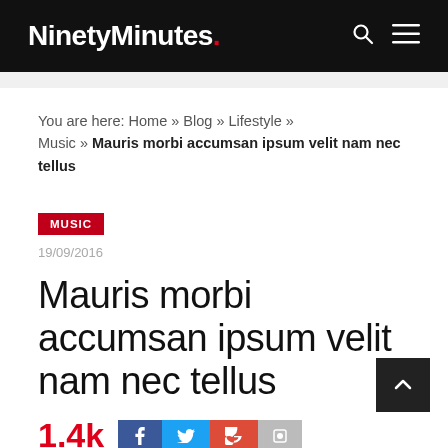NinetyMinutes.
You are here: Home » Blog » Lifestyle » Music » Mauris morbi accumsan ipsum velit nam nec tellus
MUSIC
19/09/2016
Mauris morbi accumsan ipsum velit nam nec tellus
1.4k